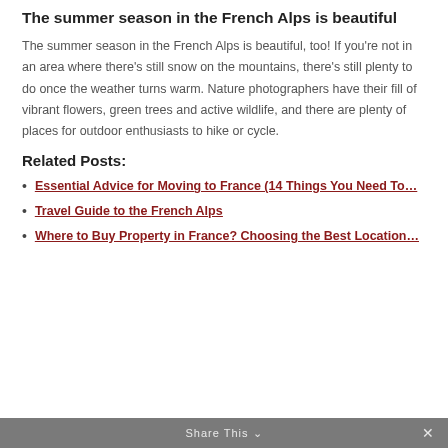The summer season in the French Alps is beautiful
The summer season in the French Alps is beautiful, too! If you're not in an area where there's still snow on the mountains, there's still plenty to do once the weather turns warm. Nature photographers have their fill of vibrant flowers, green trees and active wildlife, and there are plenty of places for outdoor enthusiasts to hike or cycle.
Related Posts:
Essential Advice for Moving to France (14 Things You Need To…
Travel Guide to the French Alps
Where to Buy Property in France? Choosing the Best Location…
Share This ∨  ✕